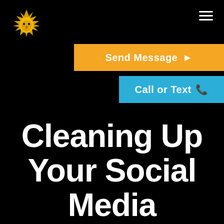[Figure (logo): Gold lion head logo on black background]
Send Message ▶
Call or Text 📞
Cleaning Up Your Social Media before